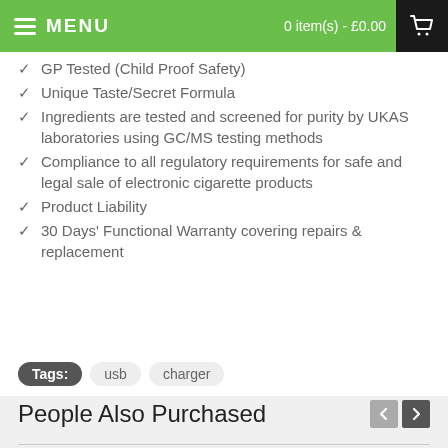MENU  0 item(s) - £0.00
✓  GP Tested (Child Proof Safety)
✓  Unique Taste/Secret Formula
✓  Ingredients are tested and screened for purity by UKAS laboratories using GC/MS testing methods
✓  Compliance to all regulatory requirements for safe and legal sale of electronic cigarette products
✓  Product Liability
✓  30 Days' Functional Warranty covering repairs & replacement
Tags:  usb  charger
People Also Purchased